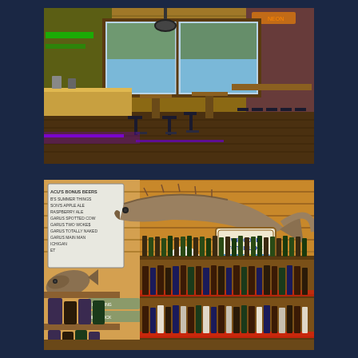[Figure (photo): Interior of a bar/restaurant with high-top tables and bar stools, wooden walls and ceiling, large windows overlooking a lake, purple LED lighting under furniture, neon signs on the walls.]
[Figure (photo): Bar interior showing well-stocked shelves with liquor bottles and beer bottles illuminated by red LED lighting, mounted taxidermy fish (sturgeon/muskie) on the wooden wall, a 'Welcome to the Lake' framed sign, a draft beer tap menu board on the left wall, and decorative lake-themed signage.]